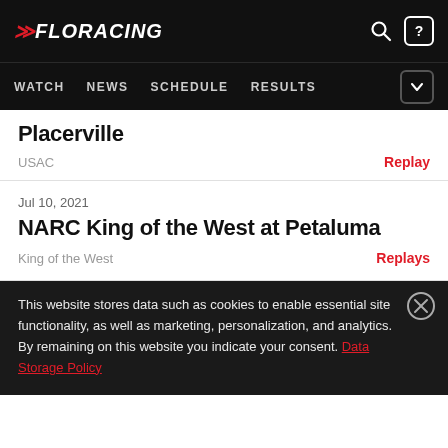FLORACING — WATCH | NEWS | SCHEDULE | RESULTS
Placerville
USAC
Replay
Jul 10, 2021
NARC King of the West at Petaluma
King of the West
Replays
This website stores data such as cookies to enable essential site functionality, as well as marketing, personalization, and analytics. By remaining on this website you indicate your consent. Data Storage Policy